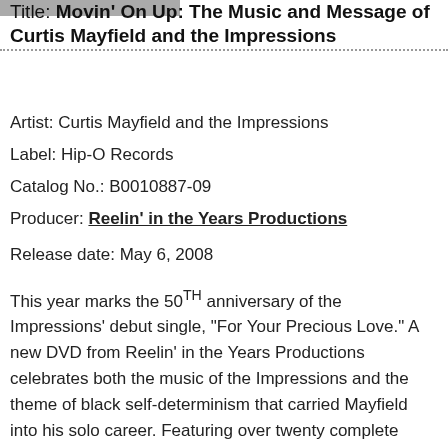[Figure (photo): Partial image strip at top left of page, cropped photo]
Title: Movin' On Up: The Music and Message of Curtis Mayfield and the Impressions
Artist: Curtis Mayfield and the Impressions
Label: Hip-O Records
Catalog No.: B0010887-09
Producer: Reelin' in the Years Productions
Release date: May 6, 2008
This year marks the 50TH anniversary of the Impressions' debut single, “For Your Precious Love.” A new DVD from Reelin’ in the Years Productions celebrates both the music of the Impressions and the theme of black self-determinism that carried Mayfield into his solo career. Featuring over twenty complete performances and interviews with Altheida Mayfield, Carlos Santana, Chuck D, and former Martin Luther King, Jr. aide Andrew Young, this documentary tells